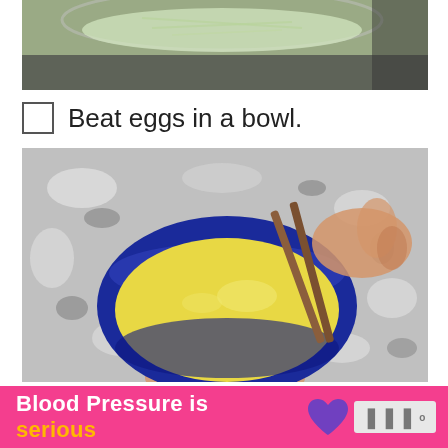[Figure (photo): Top portion of a photo showing a glass bowl with noodles or shredded vegetables, partially visible]
Beat eggs in a bowl.
[Figure (photo): Photo of a blue ceramic bowl filled with beaten yellow eggs, hands holding chopsticks stirring the eggs, on a granite countertop]
Blood Pressure is serious